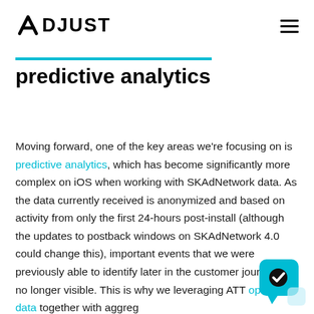ADJUST
predictive analytics
Moving forward, one of the key areas we're focusing on is predictive analytics, which has become significantly more complex on iOS when working with SKAdNetwork data. As the data currently received is anonymized and based on activity from only the first 24-hours post-install (although the updates to postback windows on SKAdNetwork 4.0 could change this), important events that we were previously able to identify later in the customer journey are no longer visible. This is why we leveraging ATT opted-in data together with aggreg